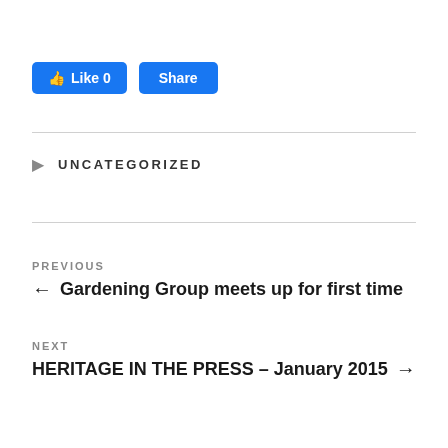[Figure (other): Facebook Like and Share buttons. Like button shows thumbs-up icon with 'Like 0', Share button shows 'Share'. Both are blue rounded rectangle buttons.]
UNCATEGORIZED
PREVIOUS
← Gardening Group meets up for first time
NEXT
HERITAGE IN THE PRESS – January 2015 →